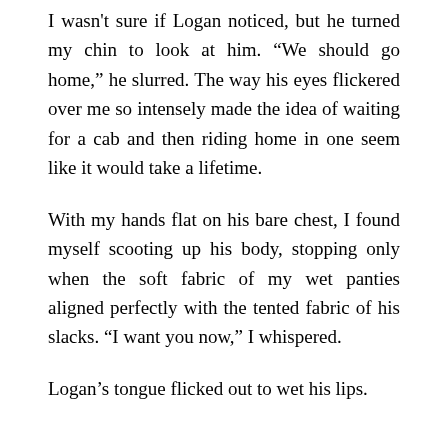I wasn't sure if Logan noticed, but he turned my chin to look at him. “We should go home,” he slurred. The way his eyes flickered over me so intensely made the idea of waiting for a cab and then riding home in one seem like it would take a lifetime.
With my hands flat on his bare chest, I found myself scooting up his body, stopping only when the soft fabric of my wet panties aligned perfectly with the tented fabric of his slacks. “I want you now,” I whispered.
Logan’s tongue flicked out to wet his lips.